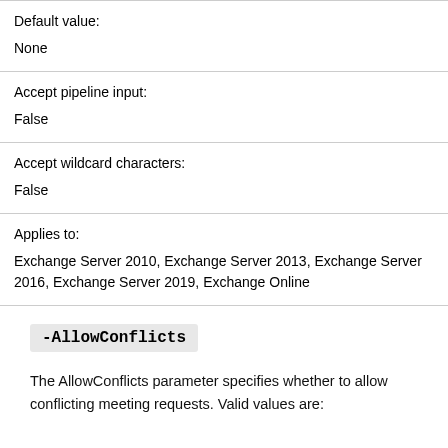| Default value: | None |
| Accept pipeline input: | False |
| Accept wildcard characters: | False |
| Applies to: | Exchange Server 2010, Exchange Server 2013, Exchange Server 2016, Exchange Server 2019, Exchange Online |
-AllowConflicts
The AllowConflicts parameter specifies whether to allow conflicting meeting requests. Valid values are: